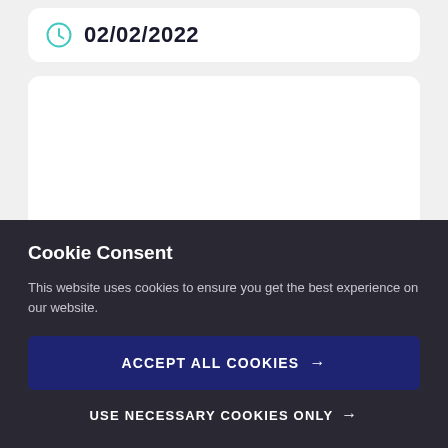02/02/2022
Cookie Consent
This website uses cookies to ensure you get the best experience on our website.
ACCEPT ALL COOKIES →
USE NECESSARY COOKIES ONLY →